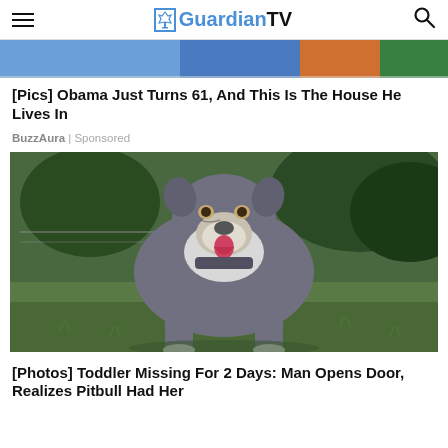Guardian TV
[Figure (photo): Partial view of a sports/outdoor scene with blue and orange colors, cropped at top]
[Pics] Obama Just Turns 61, And This Is The House He Lives In
BuzzAura | Sponsored
[Figure (photo): A stocky gray and white pitbull dog standing on grass outdoors, tongue out, facing camera]
[Photos] Toddler Missing For 2 Days: Man Opens Door, Realizes Pitbull Had Her